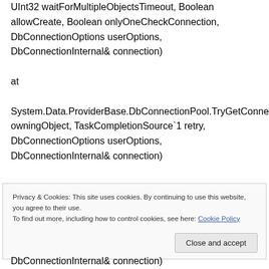UInt32 waitForMultipleObjectsTimeout, Boolean allowCreate, Boolean onlyOneCheckConnection, DbConnectionOptions userOptions, DbConnectionInternal& connection)
at
System.Data.ProviderBase.DbConnectionPool.TryGetConnection(DbConnection owningObject, TaskCompletionSource`1 retry, DbConnectionOptions userOptions, DbConnectionInternal& connection)
Privacy & Cookies: This site uses cookies. By continuing to use this website, you agree to their use.
To find out more, including how to control cookies, see here: Cookie Policy
DbConnectionInternal& connection)